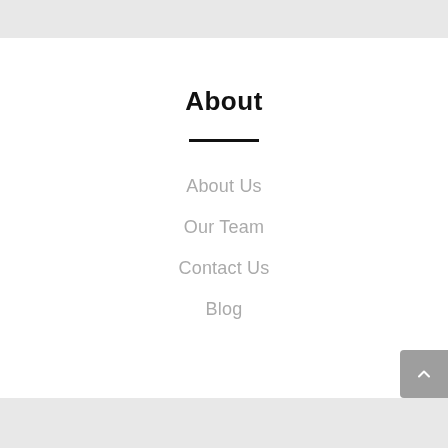About
About Us
Our Team
Contact Us
Blog